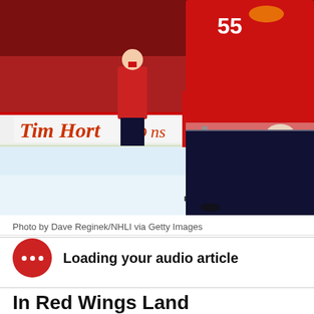[Figure (photo): Hockey player in Detroit Red Wings red jersey (#55) on the ice, holding a hockey stick. Tim Hortons advertising board visible in background. Another player in red jersey is also visible.]
Photo by Dave Reginek/NHLI via Getty Images
Loading your audio article
In Red Wings Land
Red Wings defensemen: Several blue line spots available - mlive.com